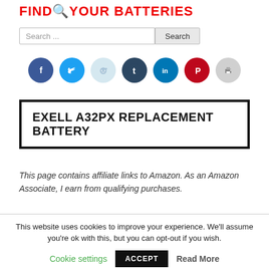FIND YOUR BATTERIES
Search ...
[Figure (infographic): Row of social media share icons: Facebook (blue), Twitter (light blue), Reddit (very light blue), Tumblr (dark blue), LinkedIn (blue), Pinterest (red), Print (gray)]
EXELL A32PX REPLACEMENT BATTERY
This page contains affiliate links to Amazon. As an Amazon Associate, I earn from qualifying purchases.
This website uses cookies to improve your experience. We'll assume you're ok with this, but you can opt-out if you wish. Cookie settings ACCEPT Read More